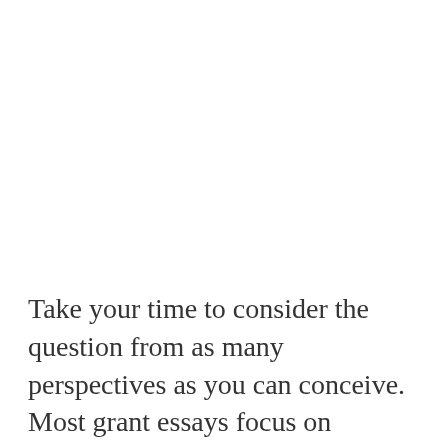Take your time to consider the question from as many perspectives as you can conceive. Most grant essays focus on revealing your fundamental character. This might be done by asking you to respond to a greater issue based on research or it may be accomplished by asking you to reflect on